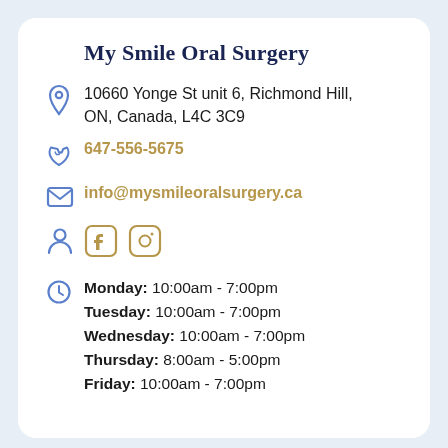My Smile Oral Surgery
10660 Yonge St unit 6, Richmond Hill, ON, Canada, L4C 3C9
647-556-5675
info@mysmileoralsurgery.ca
[Figure (infographic): Social media icons: person/profile icon, Facebook icon, Instagram icon]
Monday: 10:00am - 7:00pm
Tuesday: 10:00am - 7:00pm
Wednesday: 10:00am - 7:00pm
Thursday: 8:00am - 5:00pm
Friday: 10:00am - 7:00pm